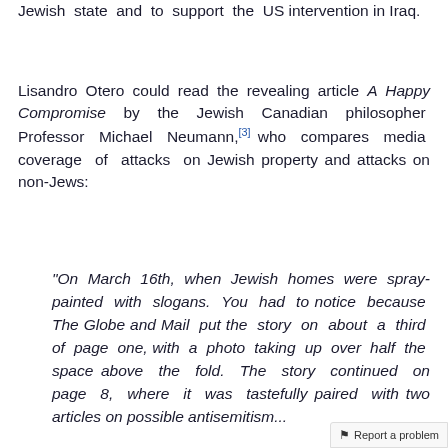Jewish state and to support the US intervention in Iraq.
Lisandro Otero could read the revealing article A Happy Compromise by the Jewish Canadian philosopher Professor Michael Neumann,[3] who compares media coverage of attacks on Jewish property and attacks on non-Jews:
"On March 16th, when Jewish homes were spray-painted with slogans. You had to notice because The Globe and Mail put the story on about a third of page one, with a photo taking up over half the space above the fold. The story continued on page 8, where it was tastefully paired with two articles on possible antisemitism...